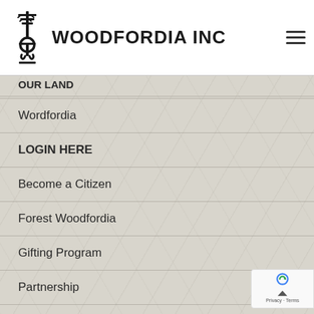[Figure (logo): Woodfordia Inc logo with tree/anchor symbol and bold text]
OUR LAND (partial, cut off at top)
Wordfordia
LOGIN HERE
Become a Citizen
Forest Woodfordia
Gifting Program
Partnership
WOODFORDIA INC
Woodford Folk Festival
Bushtime
The Planting